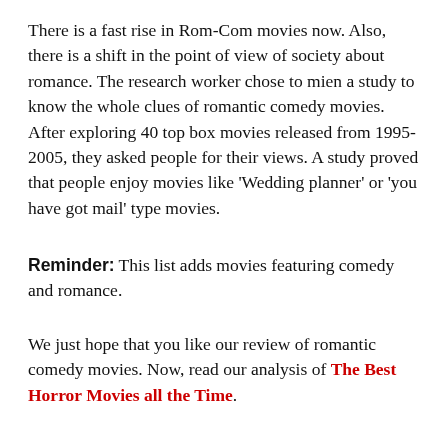There is a fast rise in Rom-Com movies now. Also, there is a shift in the point of view of society about romance. The research worker chose to mien a study to know the whole clues of romantic comedy movies. After exploring 40 top box movies released from 1995-2005, they asked people for their views. A study proved that people enjoy movies like 'Wedding planner' or 'you have got mail' type movies.
Reminder: This list adds movies featuring comedy and romance.
We just hope that you like our review of romantic comedy movies. Now, read our analysis of The Best Horror Movies all the Time.